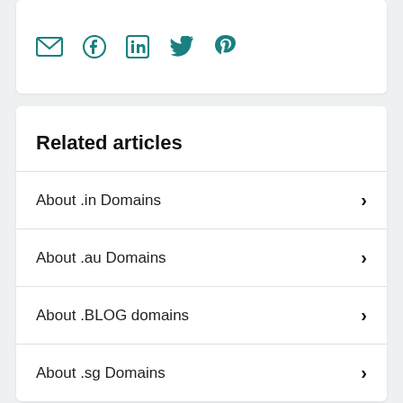[Figure (other): Social media sharing icons: email, Facebook, LinkedIn, Twitter, Pinterest in teal color]
Related articles
About .in Domains
About .au Domains
About .BLOG domains
About .sg Domains